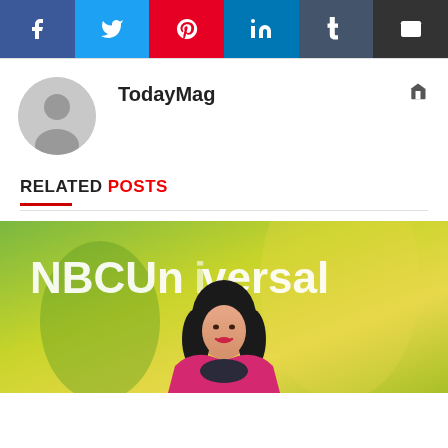[Figure (other): Social media share buttons: Facebook (blue), Twitter (light blue), Pinterest (red), LinkedIn (dark blue), Tumblr (slate), Email (black)]
[Figure (other): Author avatar placeholder (gray circle with person silhouette)]
TodayMag
RELATED POSTS
[Figure (photo): Woman with dark hair wearing a pink blazer and dark top, standing in front of an NBCUniversal green and yellow branded backdrop. She is smiling and wearing red lipstick.]